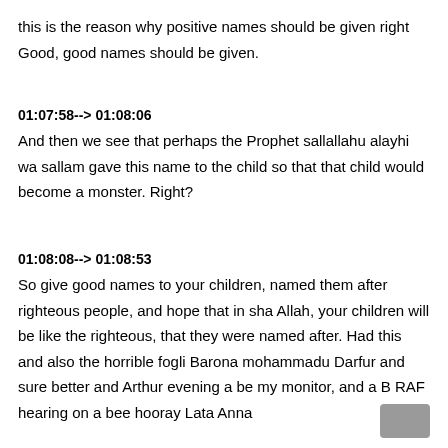this is the reason why positive names should be given right Good, good names should be given.
01:07:58--> 01:08:06
And then we see that perhaps the Prophet sallallahu alayhi wa sallam gave this name to the child so that that child would become a monster. Right?
01:08:08--> 01:08:53
So give good names to your children, named them after righteous people, and hope that in sha Allah, your children will be like the righteous, that they were named after. Had this and also the horrible fogli Barona mohammadu Darfur and sure better and Arthur evening a be my monitor, and a B RAF hearing on a bee hooray Lata Anna